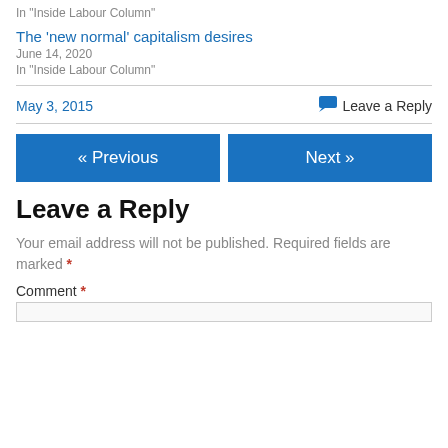In "Inside Labour Column"
The 'new normal' capitalism desires
June 14, 2020
In "Inside Labour Column"
May 3, 2015
Leave a Reply
« Previous
Next »
Leave a Reply
Your email address will not be published. Required fields are marked *
Comment *